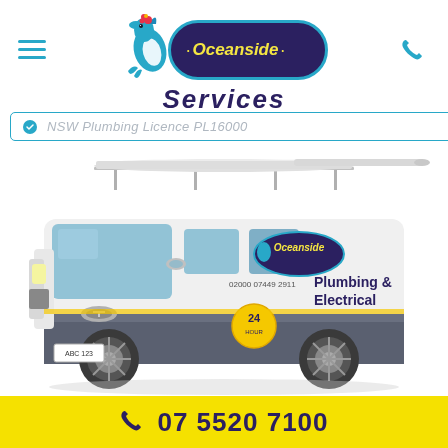Oceanside Services
NSW Plumbing Licence PL16000
[Figure (photo): Oceanside Services branded white van with roof rack carrying pipes/equipment, with 'Plumbing & Electrical' text on the side and 24-hour service badge]
07 5520 7100